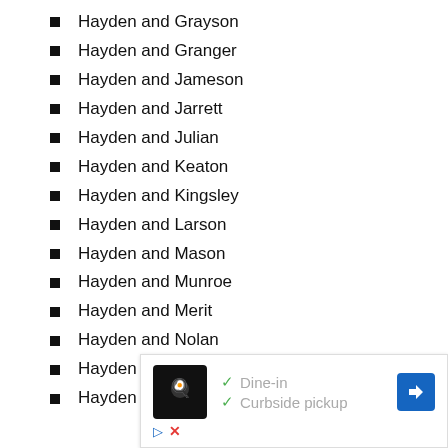Hayden and Grayson
Hayden and Granger
Hayden and Jameson
Hayden and Jarrett
Hayden and Julian
Hayden and Keaton
Hayden and Kingsley
Hayden and Larson
Hayden and Mason
Hayden and Munroe
Hayden and Merit
Hayden and Nolan
Hayden and Porter
Hayden and Quinn
[Figure (other): Advertisement overlay showing a restaurant logo, Dine-in and Curbside pickup options with check marks, a blue navigation arrow icon, and play/close buttons.]